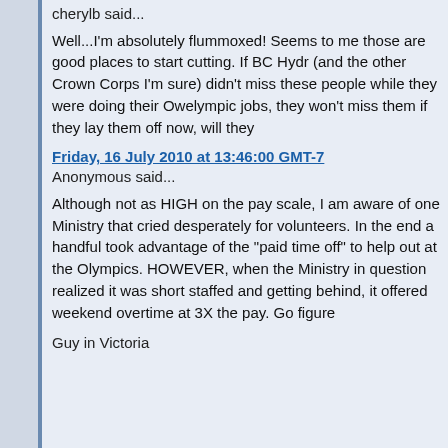cherylb said...
Well...I'm absolutely flummoxed! Seems to me those are good places to start cutting. If BC Hydr (and the other Crown Corps I'm sure) didn't miss these people while they were doing their Owelympic jobs, they won't miss them if they lay them off now, will they
Friday, 16 July 2010 at 13:46:00 GMT-7
Anonymous said...
Although not as HIGH on the pay scale, I am aware of one Ministry that cried desperately for volunteers. In the end a handful took advantage of the "paid time off" to help out at the Olympics. HOWEVER, when the Ministry in question realized it was short staffed and getting behind, it offered weekend overtime at 3X the pay. Go figure
Guy in Victoria